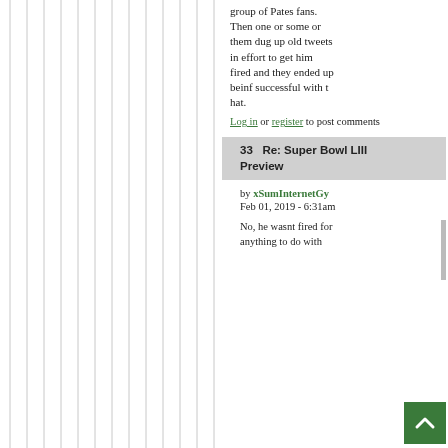group of Pates fans. Then one or some or them dug up old tweets in effort to get him fired and they ended up beinf successful with t hat.
Log in or register to post comments
33   Re: Super Bowl LIII Preview
by xSumInternetGy...
Feb 01, 2019 - 6:31am
No, he wasnt fired for anything to do with